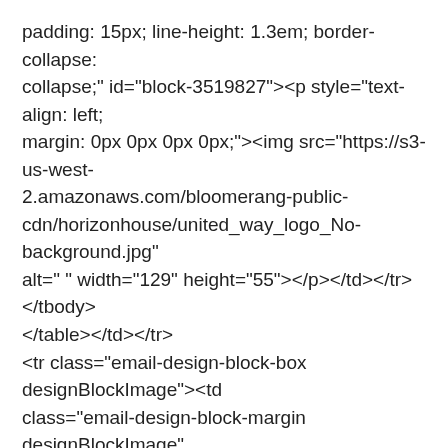padding: 15px; line-height: 1.3em; border-collapse: collapse;" id="block-3519827"><p style="text-align: left; margin: 0px 0px 0px 0px;"><img src="https://s3-us-west-2.amazonaws.com/bloomerang-public-cdn/horizonhouse/united_way_logo_No-background.jpg" alt=" " width="129" height="55"></p></td></tr></tbody></table></td></tr>
<tr class="email-design-block-box designBlockImage"><td class="email-design-block-margin designBlockImage" style="vertical-align: top; border-collapse: collapse;"><table cellspacing="0" cellpadding="0" width="100%"><tbody><tr><td class="email-design-block designBlockImage" style="color: #888686; font-size: 13px; font-family: Arial, Helvetica, sans-serif; vertical-align: top; padding: 15px; line-height: 1.3em; border-collapse: collapse;" id="block-3519826"><p style="text-align: left; margin: 0px 0px 0px 0px;"><a style="text-decoration: none; color: #0095b; font-size: 13px; font-family: Arial,